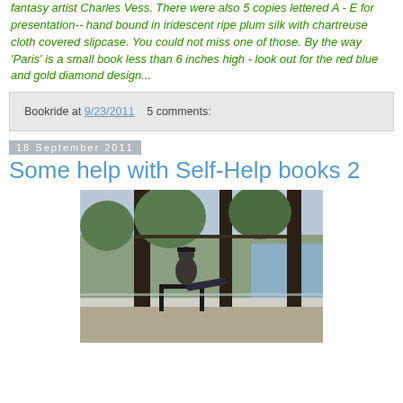fantasy artist Charles Vess. There were also 5 copies lettered A - E for presentation-- hand bound in iridescent ripe plum silk with chartreuse cloth covered slipcase. You could not miss one of those. By the way 'Paris' is a small book less than 6 inches high - look out for the red blue and gold diamond design...
Bookride at 9/23/2011   5 comments:
18 September 2011
Some help with Self-Help books 2
[Figure (photo): Person sitting in a chair on a deck or patio, with trees and water visible in the background through large glass windows/doors.]